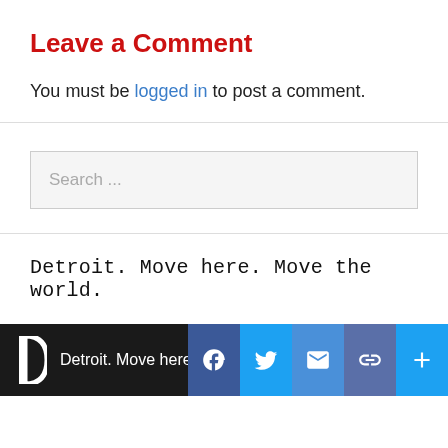Leave a Comment
You must be logged in to post a comment.
Search ...
Detroit. Move here. Move the world.
[Figure (screenshot): Video thumbnail bar with Detroit logo, caption text 'Detroit. Move here.' and social sharing icons for Facebook, Twitter, Email, Link, and More (+)]